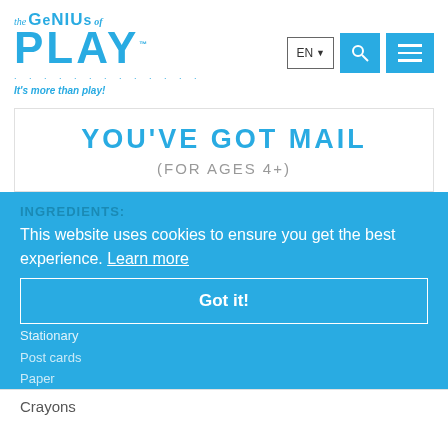[Figure (logo): The Genius of PLAY logo with tagline 'It's more than play!']
YOU'VE GOT MAIL
(FOR AGES 4+)
INGREDIENTS:
This website uses cookies to ensure you get the best experience. Learn more
Got it!
Stationary
Post cards
Paper
Crayons